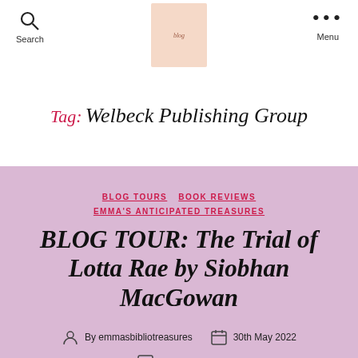Search  [logo]  Menu
Tag: Welbeck Publishing Group
BLOG TOURS  BOOK REVIEWS  EMMA'S ANTICIPATED TREASURES
BLOG TOUR: The Trial of Lotta Rae by Siobhan MacGowan
By emmasbibliotreasures  30th May 2022
No Comments